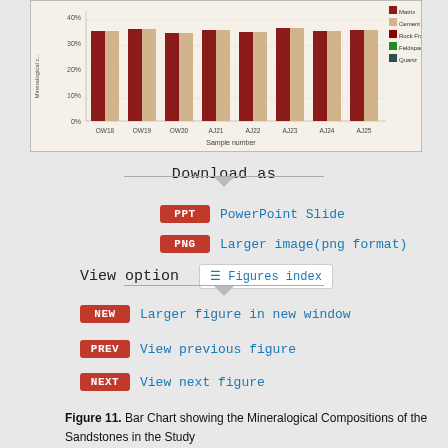[Figure (grouped-bar-chart): Mineralogical Compositions of Sandstones]
Download as
PPT  PowerPoint Slide
PNG  Larger image(png format)
View option
NEW  Larger figure in new window
PREV  View previous figure
NEXT  View next figure
Figure 11. Bar Chart showing the Mineralogical Compositions of the Sandstones in the Study Area